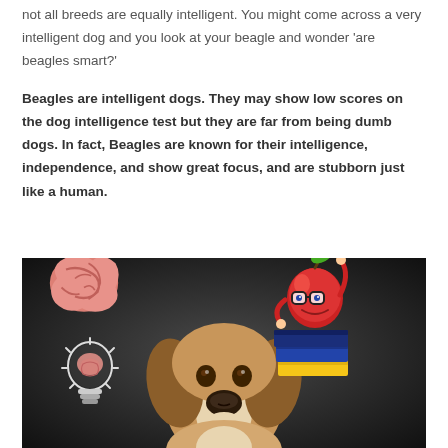not all breeds are equally intelligent. You might come across a very intelligent dog and you look at your beagle and wonder 'are beagles smart?'
Beagles are intelligent dogs. They may show low scores on the dog intelligence test but they are far from being dumb dogs. In fact, Beagles are known for their intelligence, independence, and show great focus, and are stubborn just like a human.
[Figure (photo): A beagle dog facing the camera with a dark gradient background. Overlaid cartoon clipart includes: a pink brain icon top-left, a smart apple character with glasses sitting on books top-right, and a lightbulb with a brain inside bottom-left.]